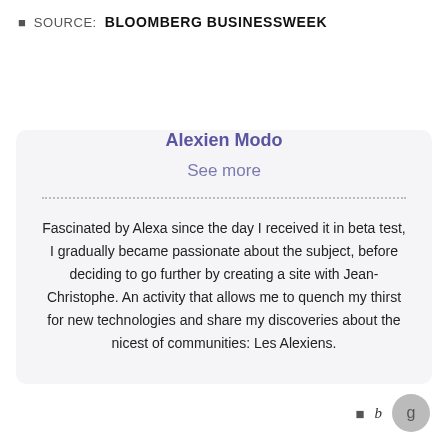SOURCE: BLOOMBERG BUSINESSWEEK
Alexien Modo
See more
Fascinated by Alexa since the day I received it in beta test, I gradually became passionate about the subject, before deciding to go further by creating a site with Jean-Christophe. An activity that allows me to quench my thirst for new technologies and share my discoveries about the nicest of communities: Les Alexiens.